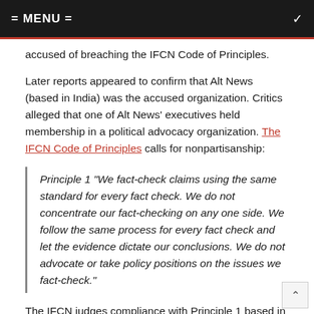= MENU =
accused of breaching the IFCN Code of Principles.
Later reports appeared to confirm that Alt News (based in India) was the accused organization. Critics alleged that one of Alt News' executives held membership in a political advocacy organization. The IFCN Code of Principles calls for nonpartisanship:
Principle 1 “We fact-check claims using the same standard for every fact check. We do not concentrate our fact-checking on any one side. We follow the same process for every fact check and let the evidence dictate our conclusions. We do not advocate or take policy positions on the issues we fact-check.”
The IFCN judges compliance with Principle 1 based in turn on the following explanation:
The organization must not support a candidate in any election nor advocate or take policy positions on any issues not strictly